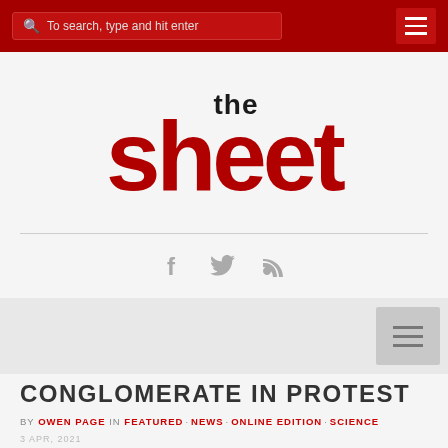To search, type and hit enter
[Figure (logo): The Sheet newspaper logo — large red stylized text 'sheet' with black 'the' above it]
[Figure (infographic): Social media icons: Facebook, Twitter, RSS feed]
CONGLOMERATE IN PROTEST
BY OWEN PAGE IN FEATURED · NEWS · ONLINE EDITION · SCIENCE